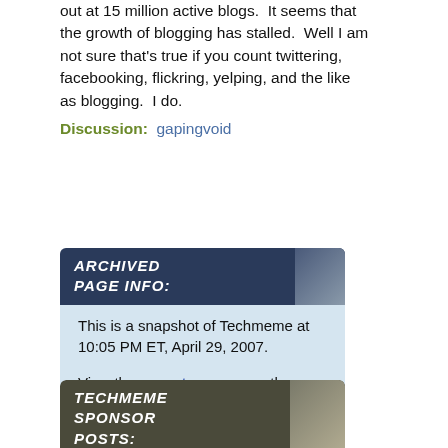out at 15 million active blogs.  It seems that the growth of blogging has stalled.  Well I am not sure that's true if you count twittering, facebooking, flickring, yelping, and the like as blogging.  I do.
Discussion:  gapingvoid
ARCHIVED PAGE INFO:
This is a snapshot of Techmeme at 10:05 PM ET, April 29, 2007.
View the current page or another snapshot:
Page version: April 29, 2007, 10:05 PM
TECHMEME SPONSOR POSTS: